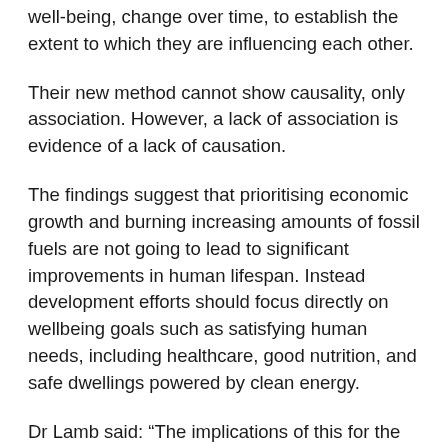well-being, change over time, to establish the extent to which they are influencing each other.
Their new method cannot show causality, only association. However, a lack of association is evidence of a lack of causation.
The findings suggest that prioritising economic growth and burning increasing amounts of fossil fuels are not going to lead to significant improvements in human lifespan. Instead development efforts should focus directly on wellbeing goals such as satisfying human needs, including healthcare, good nutrition, and safe dwellings powered by clean energy.
Dr Lamb said: “The implications of this for the